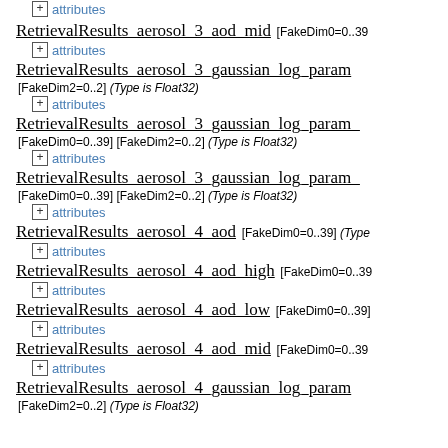attributes
RetrievalResults_aerosol_3_aod_mid [FakeDim0=0..39]
attributes
RetrievalResults_aerosol_3_gaussian_log_param [FakeDim2=0..2] (Type is Float32)
attributes
RetrievalResults_aerosol_3_gaussian_log_param_ [FakeDim0=0..39] [FakeDim2=0..2] (Type is Float32)
attributes
RetrievalResults_aerosol_3_gaussian_log_param_ [FakeDim0=0..39] [FakeDim2=0..2] (Type is Float32)
attributes
RetrievalResults_aerosol_4_aod [FakeDim0=0..39] (Type
attributes
RetrievalResults_aerosol_4_aod_high [FakeDim0=0..39
attributes
RetrievalResults_aerosol_4_aod_low [FakeDim0=0..39]
attributes
RetrievalResults_aerosol_4_aod_mid [FakeDim0=0..39
attributes
RetrievalResults_aerosol_4_gaussian_log_param [FakeDim2=0..2] (Type is Float32)